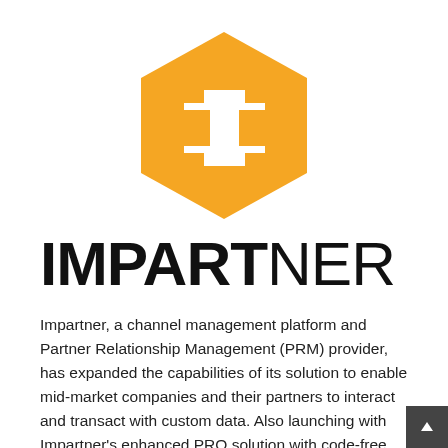[Figure (logo): Impartner logo: golden/amber hexagon shape with a white stylized letter I (with serifs/feet) in the center]
IMPARTNER
Impartner, a channel management platform and Partner Relationship Management (PRM) provider, has expanded the capabilities of its solution to enable mid-market companies and their partners to interact and transact with custom data. Also launching with Impartner’s enhanced PRO solution with code-free customization is the company’s new MDF Complete, a PRM end-to-end solution to manage Marketing [...]